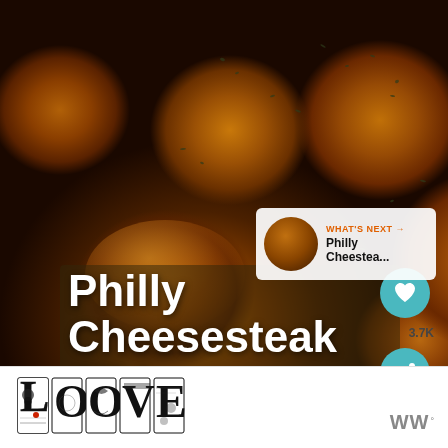[Figure (photo): Close-up photo of golden-brown Philly Cheesesteak Sliders (bread rolls) on a dark baking tray, with herb flecks on top. White bold text overlay reads 'Philly Cheesesteak Sliders'. A teal heart button shows 3.7K likes, a teal share button, and a 'WHAT'S NEXT' thumbnail panel showing another Philly Cheesestea... image.]
[Figure (logo): Decorative 'LOVE' logo in ornate black-and-white illustrated style with a small red dot in the L letter]
×
WW°